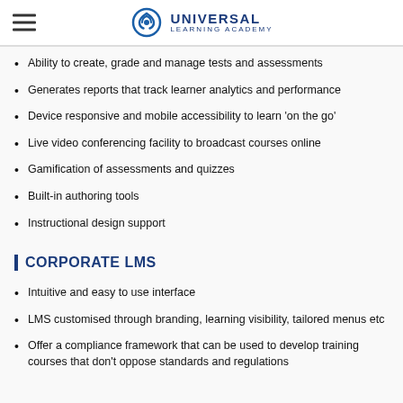UNIVERSAL LEARNING ACADEMY
Ability to create, grade and manage tests and assessments
Generates reports that track learner analytics and performance
Device responsive and mobile accessibility to learn 'on the go'
Live video conferencing facility to broadcast courses online
Gamification of assessments and quizzes
Built-in authoring tools
Instructional design support
CORPORATE LMS
Intuitive and easy to use interface
LMS customised through branding, learning visibility, tailored menus etc
Offer a compliance framework that can be used to develop training courses that don't oppose standards and regulations